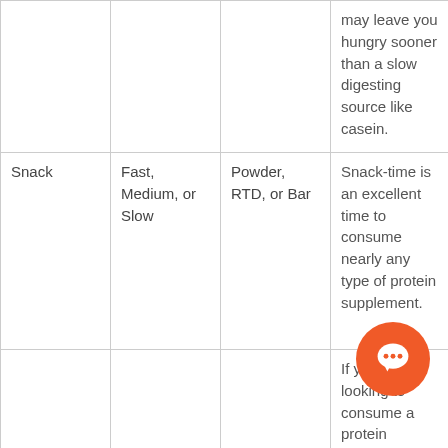|  | Digestion Speed | Form | Notes |
| --- | --- | --- | --- |
|  |  |  | may leave you hungry sooner than a slow digesting source like casein. |
| Snack | Fast, Medium, or Slow | Powder, RTD, or Bar | Snack-time is an excellent time to consume nearly any type of protein supplement. |
| Pro workout | Fast | Powder or | If you're looking to consume a protein supplement within an hour of lifting choose s...g faster dige... and light on the |